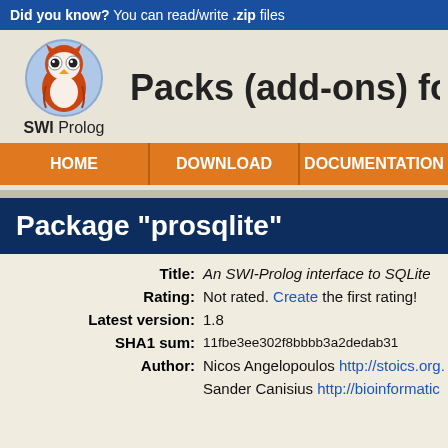Did you know? You can read/write .zip files
[Figure (logo): SWI-Prolog owl logo with text 'SWI Prolog']
Packs (add-ons) fo
HOME | DOWNLOAD | DOCUMENTATION
Package "prosqlite"
| Field | Value |
| --- | --- |
| Title: | An SWI-Prolog interface to SQLite |
| Rating: | Not rated. Create the first rating! |
| Latest version: | 1.8 |
| SHA1 sum: | 11fbe3ee302f8bbbb3a2dedab31 |
| Author: | Nicos Angelopoulos http://stoics.org. |
|  | Sander Canisius http://bioinformatic |